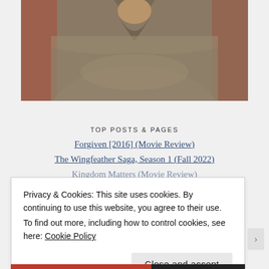[Figure (photo): A man wearing a rough linen tunic with a frayed V-neckline, upper body visible, with a reddish-orange background partially visible.]
TOP POSTS & PAGES
Forgiven [2016] (Movie Review)
The Wingfeather Saga, Season 1 (Fall 2022)
Kingdom Matters (Movie Review)
Privacy & Cookies: This site uses cookies. By continuing to use this website, you agree to their use.
To find out more, including how to control cookies, see here: Cookie Policy
Close and accept